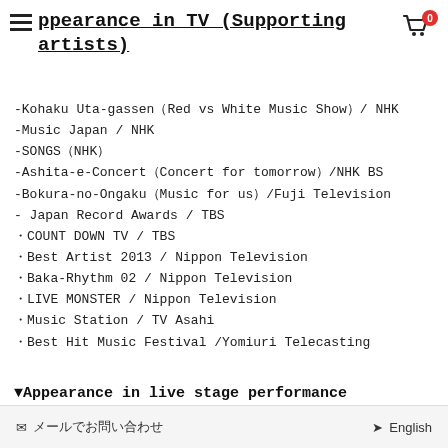Appearance in TV (Supporting artists)
-Kohaku Uta-gassen（Red vs White Music Show）/ NHK
-Music Japan / NHK
-SONGS（NHK）
-Ashita-e-Concert（Concert for tomorrow）/NHK BS
-Bokura-no-Ongaku（Music for us）/Fuji Television
- Japan Record Awards / TBS
・COUNT DOWN TV / TBS
・Best Artist 2013 / Nippon Television
・Baka-Rhythm 02 / Nippon Television
・LIVE MONSTER / Nippon Television
・Music Station / TV Asahi
・Best Hit Music Festival /Yomiuri Telecasting
▼Appearance in live stage performance
✉ メールでお問い合わせ　　→ English